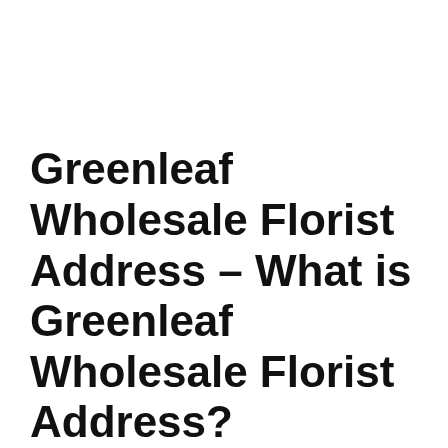Greenleaf Wholesale Florist Address – What is Greenleaf Wholesale Florist Address?